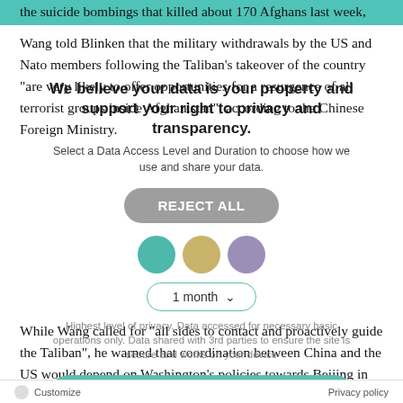the suicide bombings that killed about 170 Afghans last week,
Wang told Blinken that the military withdrawals by the US and Nato members following the Taliban's takeover of the country "are very likely to offer opportunities for a resurgence of all terrorist groups inside Afghanistan", according to the Chinese Foreign Ministry.
[Figure (infographic): Privacy consent overlay with title 'We believe your data is your property and support your right to privacy and transparency.', subtitle 'Select a Data Access Level and Duration to choose how we use and share your data.', a REJECT ALL button, three colored circles (teal, gold, lavender), a '1 month' dropdown, a privacy description, and a 'Save my preferences' teal button.]
While Wang called for "all sides to contact and proactively guide the Taliban", he warned that coordination between China and the US would depend on Washington's policies towards Beijing in other areas, including efforts to investigate the origins of the coronavirus pandemic
Continue reading at archive.vn
We remind our readers that publication of articles on our site does not mean that we agree with what is written. Our policy is